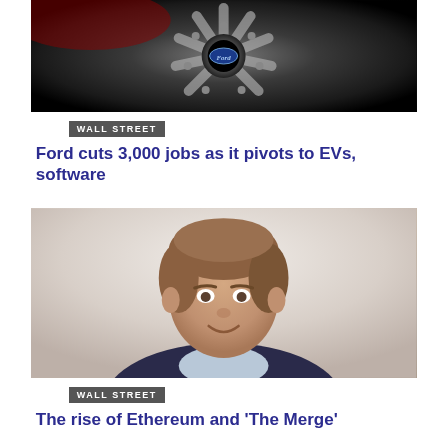[Figure (photo): Close-up of a Ford wheel/rim with Ford oval logo in the center, dark metallic finish]
WALL STREET
Ford cuts 3,000 jobs as it pivots to EVs, software
[Figure (photo): Portrait photo of a middle-aged man with brown hair, smiling, wearing a dark suit and light blue shirt, light background]
WALL STREET
The rise of Ethereum and 'The Merge'